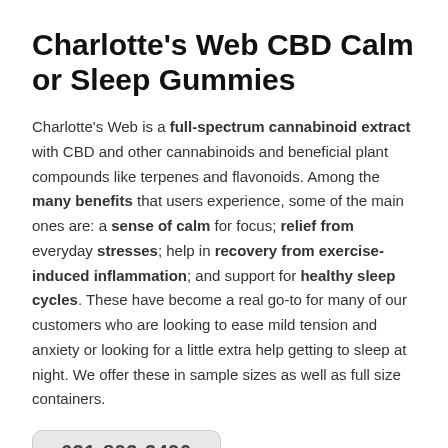Charlotte's Web CBD Calm or Sleep Gummies
Charlotte's Web is a full-spectrum cannabinoid extract with CBD and other cannabinoids and beneficial plant compounds like terpenes and flavonoids. Among the many benefits that users experience, some of the main ones are: a sense of calm for focus; relief from everyday stresses; help in recovery from exercise-induced inflammation; and support for healthy sleep cycles. These have become a real go-to for many of our customers who are looking to ease mild tension and anxiety or looking for a little extra help getting to sleep at night. We offer these in sample sizes as well as full size containers.
631-893-3490
Comments